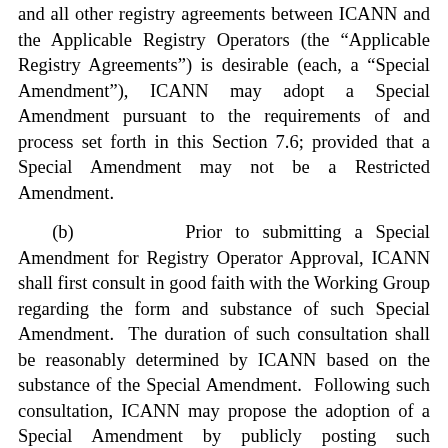and all other registry agreements between ICANN and the Applicable Registry Operators (the “Applicable Registry Agreements”) is desirable (each, a “Special Amendment”), ICANN may adopt a Special Amendment pursuant to the requirements of and process set forth in this Section 7.6; provided that a Special Amendment may not be a Restricted Amendment.
(b)      Prior to submitting a Special Amendment for Registry Operator Approval, ICANN shall first consult in good faith with the Working Group regarding the form and substance of such Special Amendment.  The duration of such consultation shall be reasonably determined by ICANN based on the substance of the Special Amendment.  Following such consultation, ICANN may propose the adoption of a Special Amendment by publicly posting such amendment on its website for no less than thirty (30) calendar days (the “Posting Period”) and providing notice of such proposed amendment to the Applicable Registry Operators in accordance with Section 7.9.  ICANN will consider the public comments submitted on a